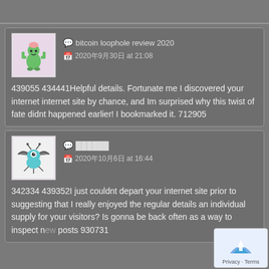[Figure (screenshot): Forum/blog comment section with two comment cards on a dark grey background. First comment by 'bitcoin loophole review 2020' posted 2020年9月30日 at 21:08 with avatar of cartoon green cactus character. Second comment by garbled username posted 2020年10月6日 at 16:44 with avatar of cartoon bat-like creature. A Google privacy/terms badge appears in bottom-right corner.]
💬 bitcoin loophole review 2020
📅 2020年9月30日 at 21:08

439055 434441Helpful details. Fortunate me I discovered your internet internet site by chance, and Im surprised why this twist of fate didnt happened earlier! I bookmarked it. 712905
💬 ██████
📅 2020年10月6日 at 16:44

342334 439352I just couldnt depart your internet site prior to suggesting that I really enjoyed the regular details an individual supply for your visitors? Is gonna be back often as a way to inspect new posts 930731